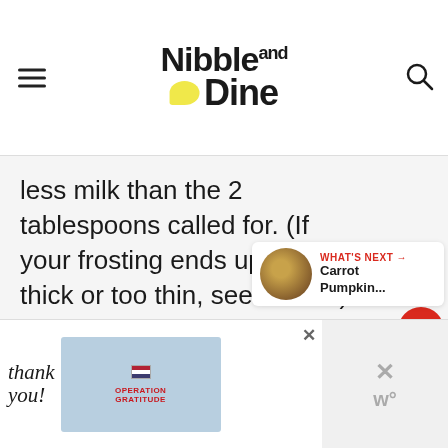Nibble and Dine
less milk than the 2 tablespoons called for. (If your frosting ends up too thick or too thin, see note 4!)
[Figure (screenshot): Red heart/like button with count 238 and share button on right side]
[Figure (infographic): What's Next panel with circular food image and text: Carrot Pumpkin...]
[Figure (photo): Advertisement banner: Thank you message with Operation Gratitude branding, people holding packages]